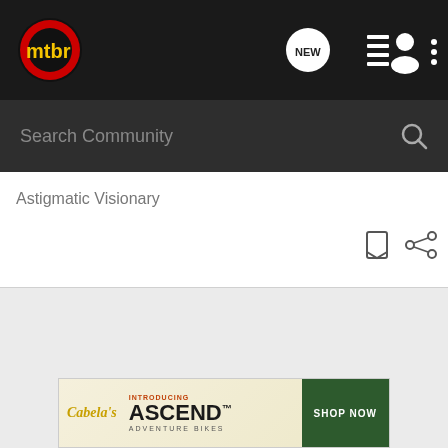[Figure (logo): mtbr logo on dark navigation bar with circular design in red, yellow and dark colors]
[Figure (screenshot): Navigation icons: NEW speech bubble, list icon, user icon, three dots menu]
Search Community
Astigmatic Visionary
[Figure (screenshot): Bookmark and share icons on right side]
[Figure (infographic): Advertisement banner: Cabela's Introducing ASCEND Adventure Bikes with SHOP NOW button]